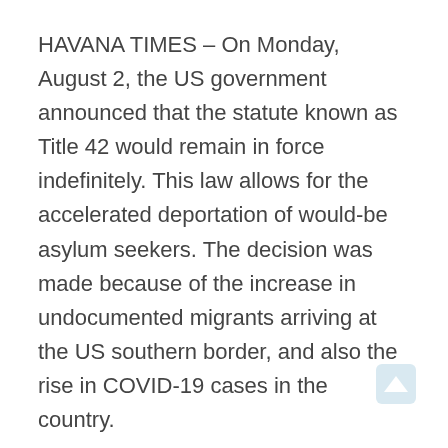HAVANA TIMES – On Monday, August 2, the US government announced that the statute known as Title 42 would remain in force indefinitely. This law allows for the accelerated deportation of would-be asylum seekers. The decision was made because of the increase in undocumented migrants arriving at the US southern border, and also the rise in COVID-19 cases in the country.
The measure was first passed by the Trump administration in 2020 at the onset of the pandemic. Now, Joe Biden is again ratifying it, amid reports of